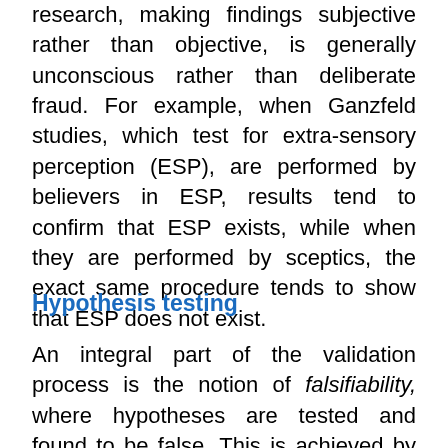research, making findings subjective rather than objective, is generally unconscious rather than deliberate fraud. For example, when Ganzfeld studies, which test for extra-sensory perception (ESP), are performed by believers in ESP, results tend to confirm that ESP exists, while when they are performed by sceptics, the exact same procedure tends to show that ESP does not exist.
Hypothesis testing
An integral part of the validation process is the notion of falsifiability, where hypotheses are tested and found to be false. This is achieved by replicating studies under the exact same testing conditions. Freud's psychodynamic theory